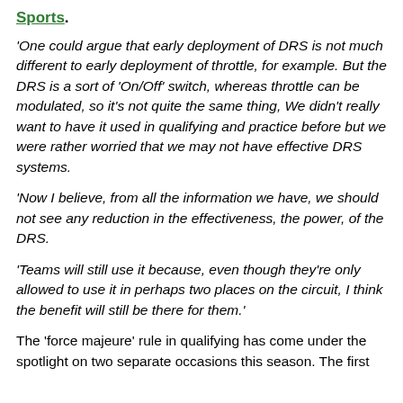Sports.
'One could argue that early deployment of DRS is not much different to early deployment of throttle, for example. But the DRS is a sort of 'On/Off' switch, whereas throttle can be modulated, so it's not quite the same thing, We didn't really want to have it used in qualifying and practice before but we were rather worried that we may not have effective DRS systems.
'Now I believe, from all the information we have, we should not see any reduction in the effectiveness, the power, of the DRS.
'Teams will still use it because, even though they're only allowed to use it in perhaps two places on the circuit, I think the benefit will still be there for them.'
The 'force majeure' rule in qualifying has come under the spotlight on two separate occasions this season. The first